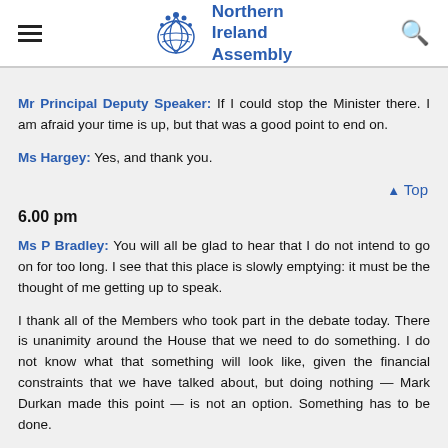Northern Ireland Assembly
Mr Principal Deputy Speaker: If I could stop the Minister there. I am afraid your time is up, but that was a good point to end on.
Ms Hargey: Yes, and thank you.
▲ Top
6.00 pm
Ms P Bradley: You will all be glad to hear that I do not intend to go on for too long. I see that this place is slowly emptying: it must be the thought of me getting up to speak.
I thank all of the Members who took part in the debate today. There is unanimity around the House that we need to do something. I do not know what that something will look like, given the financial constraints that we have talked about, but doing nothing — Mark Durkan made this point — is not an option. Something has to be done.
I thank the proposer, Alex Easton. Anybody who knows Alex will know that he has raised this issue on many occasions over the past — but I did not catch what the Minister said — it was either